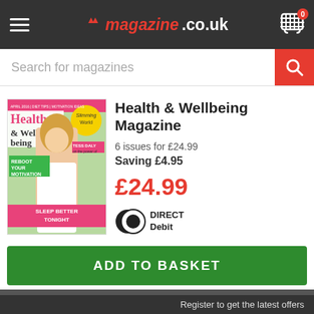magazine.co.uk
Search for magazines
[Figure (illustration): Health & Wellbeing Magazine cover showing a blonde woman, with headlines REBOOT YOUR MOTIVATION, SLEEP BETTER TONIGHT, and a Slimming badge]
Health & Wellbeing Magazine
6 issues for £24.99
Saving £4.95
£24.99
[Figure (logo): Direct Debit logo]
ADD TO BASKET
HEALTH & WELLBEING MAGAZINE
Register to get the latest offers